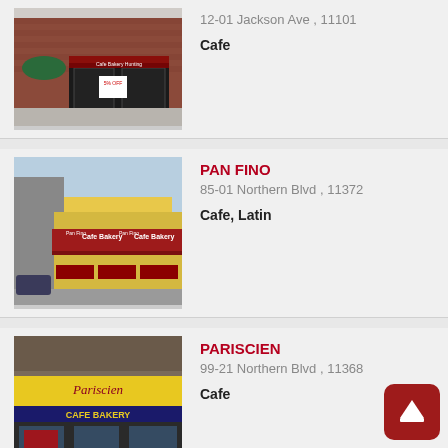[Figure (photo): Exterior photo of a brick building cafe at 12-01 Jackson Ave]
12-01 Jackson Ave , 11101
Cafe
[Figure (photo): Exterior photo of Pan Fino Cafe Bakery with red awnings]
PAN FINO
85-01 Northern Blvd , 11372
Cafe, Latin
[Figure (photo): Exterior photo of Pariscien Cafe Bakery with yellow banner]
PARISCIEN
99-21 Northern Blvd , 11368
Cafe